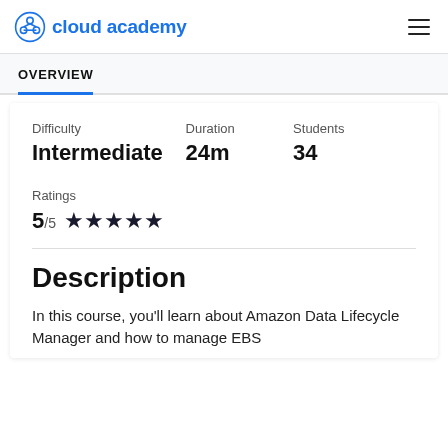cloud academy
OVERVIEW
| Difficulty | Duration | Students |
| --- | --- | --- |
| Intermediate | 24m | 34 |
Ratings 5/5 ★★★★★
Description
In this course, you'll learn about Amazon Data Lifecycle Manager and how to manage EBS